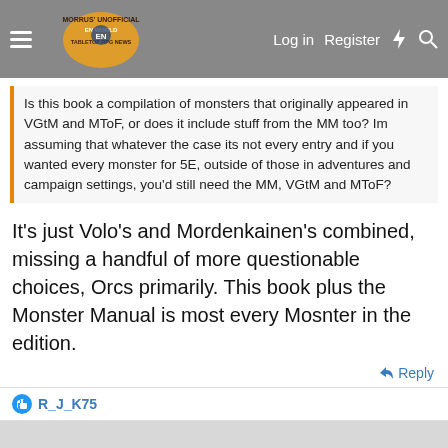Morrus' Unofficial Tabletop RPG News — Log in | Register
Is this book a compilation of monsters that originally appeared in VGtM and MToF, or does it include stuff from the MM too? Im assuming that whatever the case its not every entry and if you wanted every monster for 5E, outside of those in adventures and campaign settings, you'd still need the MM, VGtM and MToF?
It's just Volo's and Mordenkainen's combined, missing a handful of more questionable choices, Orcs primarily. This book plus the Monster Manual is most every Mosnter in the edition.
Reply
R_J_K75
R_J_K75
Hero